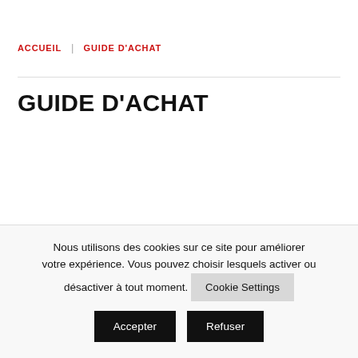ACCUEIL | GUIDE D'ACHAT
GUIDE D'ACHAT
Nous utilisons des cookies sur ce site pour améliorer votre expérience. Vous pouvez choisir lesquels activer ou désactiver à tout moment.
Cookie Settings
Accepter
Refuser